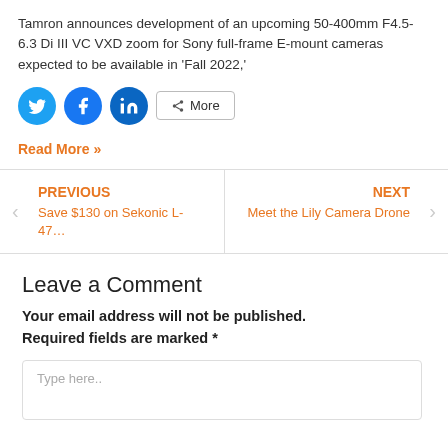Tamron announces development of an upcoming 50-400mm F4.5-6.3 Di III VC VXD zoom for Sony full-frame E-mount cameras expected to be available in 'Fall 2022,'
[Figure (infographic): Social share buttons: Twitter (blue circle), Facebook (blue circle), LinkedIn (blue circle), and a More button with share icon]
Read More »
PREVIOUS
Save $130 on Sekonic L-47…
NEXT
Meet the Lily Camera Drone
Leave a Comment
Your email address will not be published.
Required fields are marked *
Type here..